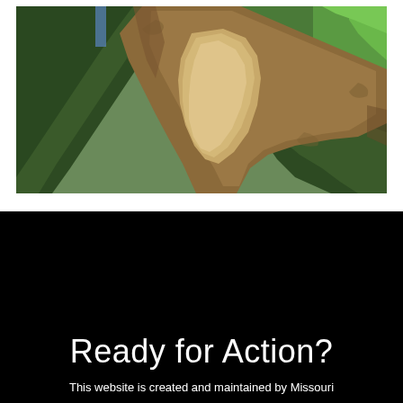[Figure (photo): Aerial photograph of a large river with a prominent sand bar/island in the middle, surrounded by dense forest on both banks. The river curves in the distance. Farmland is visible in the upper right.]
Ready for Action?
This website is created and maintained by Missouri